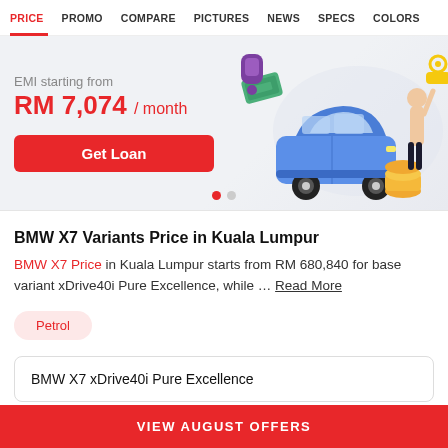PRICE | PROMO | COMPARE | PICTURES | NEWS | SPECS | COLORS
[Figure (illustration): EMI banner with illustration of a blue SUV car, a person holding a key, coins, and cash. Shows EMI starting from RM 7,074/month with a Get Loan button and carousel dots.]
BMW X7 Variants Price in Kuala Lumpur
BMW X7 Price in Kuala Lumpur starts from RM 680,840 for base variant xDrive40i Pure Excellence, while ... Read More
Petrol
BMW X7 xDrive40i Pure Excellence
VIEW AUGUST OFFERS